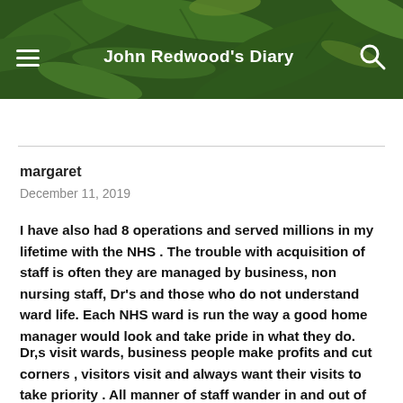John Redwood's Diary
margaret
December 11, 2019
I have also had 8 operations and served millions in my lifetime with the NHS . The trouble with acquisition of staff is often they are managed by business, non nursing staff, Dr's and those who do not understand ward life. Each NHS ward is run the way a good home manager would look and take pride in what they do.
Dr,s visit wards, business people make profits and cut corners , visitors visit and always want their visits to take priority . All manner of staff wander in and out of wards on a daily basis , The qualified Nurse/sister oversees the movements and if she